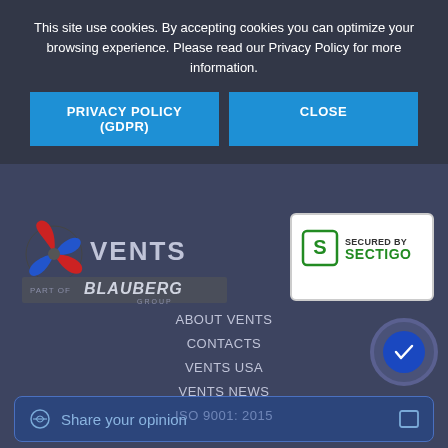This site use cookies. By accepting cookies you can optimize your browsing experience. Please read our Privacy Policy for more information.
PRIVACY POLICY (GDPR)
CLOSE
[Figure (logo): VENTS logo with fan blade icon, red and blue, and Blauberg Group sub-brand]
[Figure (logo): Secured by Sectigo badge - green S shield logo with text SECURED BY SECTIGO]
ABOUT VENTS
CONTACTS
VENTS USA
VENTS NEWS
ISO 9001: 2015
GlossaryAdvice on ventilation
Terms of usePrivacy PolicySitemap
Share your opinion